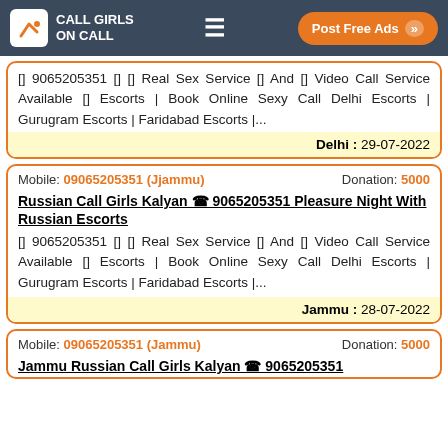Call Girls On Call | Post Free Ads
[] 9065205351 [] [] Real Sex Service [] And [] Video Call Service Available [] Escorts | Book Online Sexy Call Delhi Escorts | Gurugram Escorts | Faridabad Escorts |...
Delhi : 29-07-2022
Mobile: 09065205351 (Jjammu)   Donation: 5000
Russian Call Girls Kalyan ☎ 9065205351 Pleasure Night With Russian Escorts
[] 9065205351 [] [] Real Sex Service [] And [] Video Call Service Available [] Escorts | Book Online Sexy Call Delhi Escorts | Gurugram Escorts | Faridabad Escorts |...
Jammu : 28-07-2022
Mobile: 09065205351 (Jammu)   Donation: 5000
Jammu Russian Call Girls Kalyan ☎ 9065205351